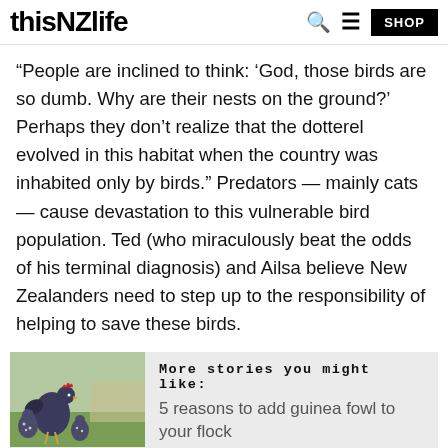thisNZlife
“People are inclined to think: ‘God, those birds are so dumb. Why are their nests on the ground?’ Perhaps they don’t realize that the dotterel evolved in this habitat when the country was inhabited only by birds.” Predators — mainly cats — cause devastation to this vulnerable bird population. Ted (who miraculously beat the odds of his terminal diagnosis) and Ailsa believe New Zealanders need to step up to the responsibility of helping to save these birds.
[Figure (photo): Photo of chickens/guinea fowl on grass, used as thumbnail for related article]
More stories you might like: 5 reasons to add guinea fowl to your flock
The bottom text preview (partially visible)